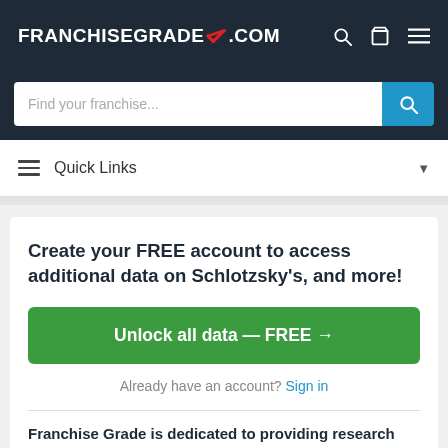[Figure (logo): FranchiseGrade.com logo with checkmark in navy navigation bar]
[Figure (screenshot): Search bar with placeholder 'Find your franchise...' and blue search button]
Quick Links
Create your FREE account to access additional data on Schlotzsky's, and more!
Unlock all data — FREE →
Already have an account? Sign in
Franchise Grade is dedicated to providing research and education that can help you make confident franchise investment decisions.